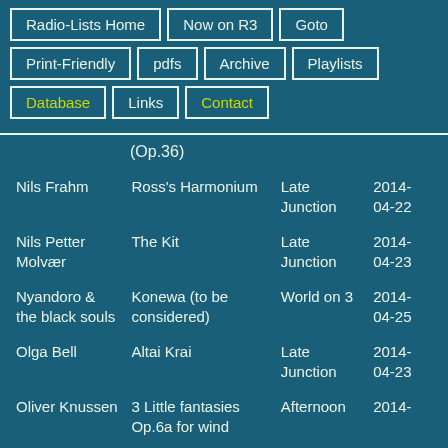Radio-Lists Home
Now on R3
Goto
Print-Friendly
pdfs
Archive
Playlists
Database
Links
Contact
(Op.36)
| Artist | Track | Programme | Date |
| --- | --- | --- | --- |
| Nils Frahm | Ross's Harmonium | Late Junction | 2014-04-22 |
| Nils Petter Molvær | The Kit | Late Junction | 2014-04-23 |
| Nyandoro & the black souls | Konewa (to be considered) | World on 3 | 2014-04-25 |
| Olga Bell | Altai Krai | Late Junction | 2014-04-23 |
| Oliver Knussen | 3 Little fantasies Op.6a for wind | Afternoon | 2014- |